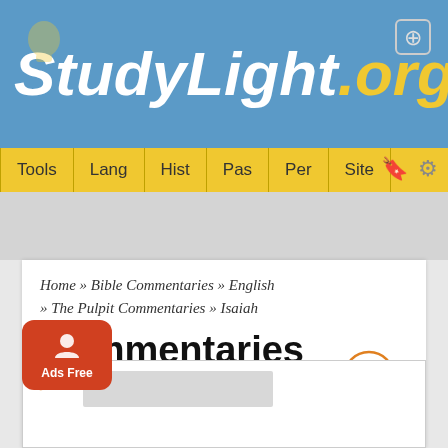StudyLight.org
Tools | Lang | Hist | Pas | Per | Site
Home » Bible Commentaries » English » The Pulpit Commentaries » Isaiah
Commentaries
The Pulpit Commentaries
Isaiah 20